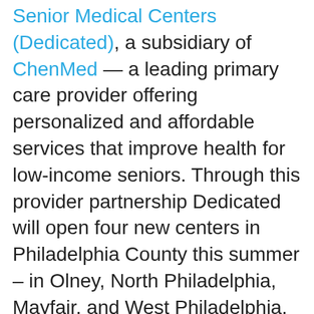Senior Medical Centers (Dedicated), a subsidiary of ChenMed — a leading primary care provider offering personalized and affordable services that improve health for low-income seniors. Through this provider partnership Dedicated will open four new centers in Philadelphia County this summer – in Olney, North Philadelphia, Mayfair, and West Philadelphia.
Dedicated follows the proven ChenMed approach to high-touch care that consistently yields better health outcomes. Their primary care physicians invest an average of 189 minutes face-to-face with each patient annually. As a result, their patients average 33.6 percent fewer emergency room visits per year than the Center for Medicare and Medicaid Services average for the 14